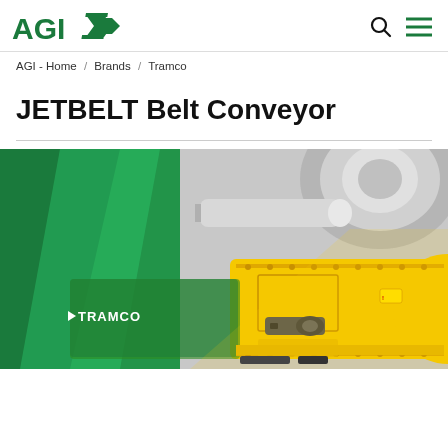[Figure (logo): AGI logo in green with stylized arrow/wing graphic]
AGI - Home / Brands / Tramco
JETBELT Belt Conveyor
[Figure (photo): Close-up photo of a yellow Tramco JETBELT belt conveyor machine against a green and white background, showing mechanical components including a drive shaft and housing. TRAMCO branding visible on the green equipment on the left side.]